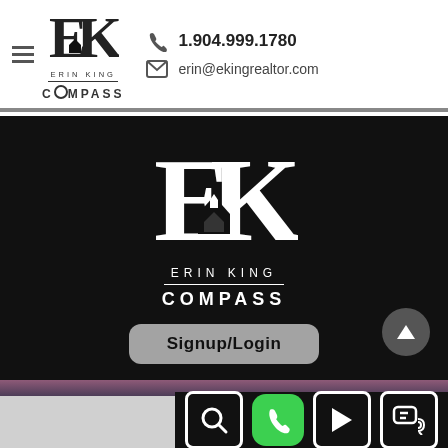[Figure (logo): Erin King Compass realtor logo and contact header with phone 1.904.999.1780 and email erin@ekingrealtor.com]
[Figure (logo): Dark hero panel with large Erin King Compass logo, Signup/Login button, and up-arrow navigation button]
[Figure (screenshot): Bottom navigation bar with search, phone, play, and chat icons on dark background]